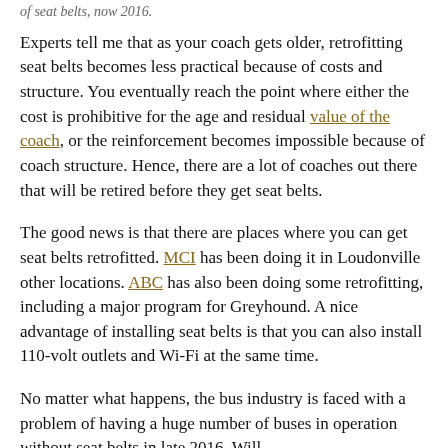of seat belts, now 2016.
Experts tell me that as your coach gets older, retrofitting seat belts becomes less practical because of costs and structure. You eventually reach the point where either the cost is prohibitive for the age and residual value of the coach, or the reinforcement becomes impossible because of coach structure. Hence, there are a lot of coaches out there that will be retired before they get seat belts.
The good news is that there are places where you can get seat belts retrofitted. MCI has been doing it in Loudonville other locations. ABC has also been doing some retrofitting, including a major program for Greyhound. A nice advantage of installing seat belts is that you can also install 110-volt outlets and Wi-Fi at the same time.
No matter what happens, the bus industry is faced with a problem of having a huge number of buses in operation without seat belts in late 2016. Will